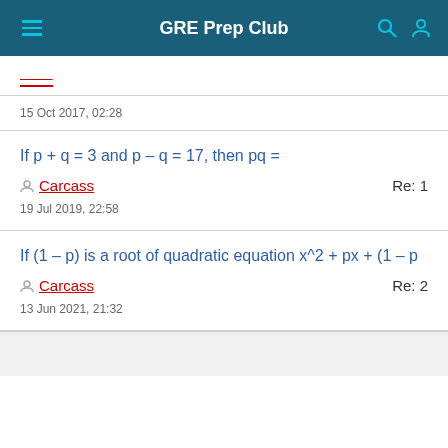GRE Prep Club
15 Oct 2017, 02:28
If p + q = 3 and p – q = 17, then pq =
Carcass
Re: 1
19 Jul 2019, 22:58
If (1 – p) is a root of quadratic equation x^2 + px + (1 – p
Carcass
Re: 2
13 Jun 2021, 21:32